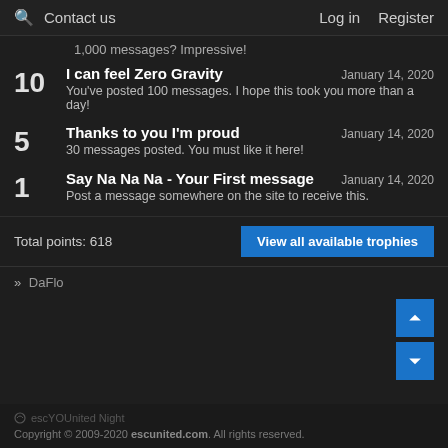🔍 Contact us   Log in   Register
1,000 messages? Impressive!
10 — I can feel Zero Gravity — January 14, 2020 — You've posted 100 messages. I hope this took you more than a day!
5 — Thanks to you I'm proud — January 14, 2020 — 30 messages posted. You must like it here!
1 — Say Na Na Na - Your First message — January 14, 2020 — Post a message somewhere on the site to receive this.
Total points: 618
View all available trophies
» DaFlo
escYOUnited Night
Copyright © 2009-2020 escunited.com. All rights reserved.